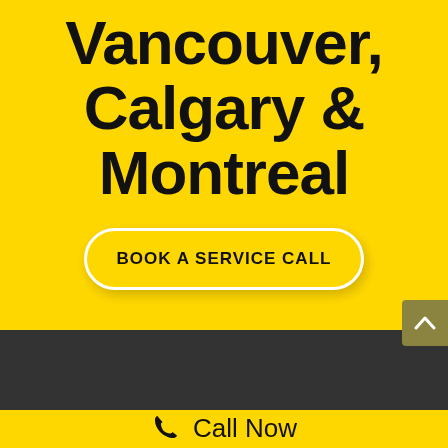Vancouver, Calgary & Montreal
BOOK A SERVICE CALL
[Figure (other): Scroll-to-top button with upward chevron arrow on dark olive/khaki background]
Call Now